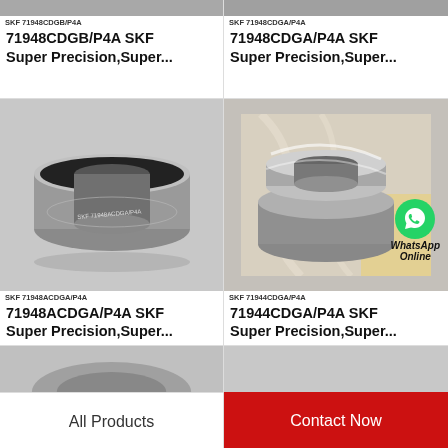[Figure (photo): Top strip of SKF 71948CDGB/P4A bearing photo with label]
SKF 71948CDGB/P4A
71948CDGB/P4A SKF Super Precision,Super...
[Figure (photo): Top strip of SKF 71948CDGA/P4A bearing photo with label]
SKF 71948CDGA/P4A
71948CDGA/P4A SKF Super Precision,Super...
[Figure (photo): Photo of SKF 71948ACDGA/P4A bearing, angular contact bearing]
SKF 71948ACDGA/P4A
71948ACDGA/P4A SKF Super Precision,Super...
[Figure (photo): Photo of SKF 71944CDGA/P4A bearing with WhatsApp Online badge overlay]
SKF 71944CDGA/P4A
71944CDGA/P4A SKF Super Precision,Super...
[Figure (photo): Partial bottom photo of a bearing]
All Products
Contact Now